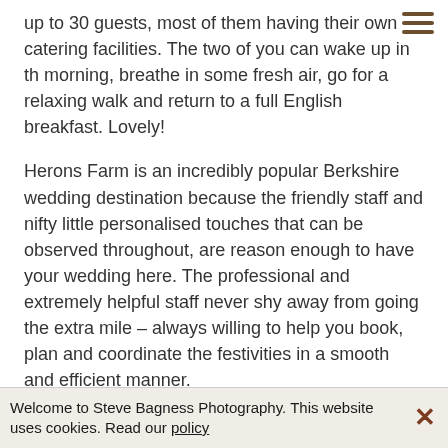up to 30 guests, most of them having their own catering facilities. The two of you can wake up in the morning, breathe in some fresh air, go for a relaxing walk and return to a full English breakfast. Lovely!
Herons Farm is an incredibly popular Berkshire wedding destination because the friendly staff and nifty little personalised touches that can be observed throughout, are reason enough to have your wedding here. The professional and extremely helpful staff never shy away from going the extra mile – always willing to help you book, plan and coordinate the festivities in a smooth and efficient manner.
AFFORDABLE PHOTOGRAPHER
Welcome to Steve Bagness Photography. This website uses cookies. Read our policy